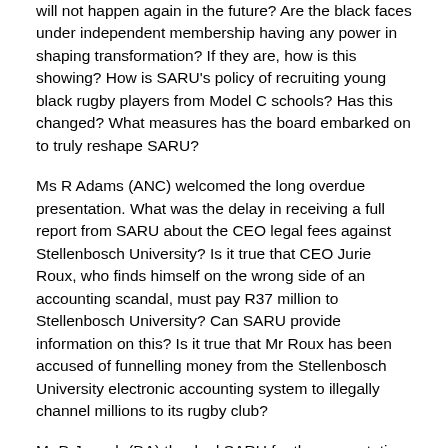will not happen again in the future? Are the black faces under independent membership having any power in shaping transformation? If they are, how is this showing? How is SARU's policy of recruiting young black rugby players from Model C schools? Has this changed? What measures has the board embarked on to truly reshape SARU?
Ms R Adams (ANC) welcomed the long overdue presentation. What was the delay in receiving a full report from SARU about the CEO legal fees against Stellenbosch University? Is it true that CEO Jurie Roux, who finds himself on the wrong side of an accounting scandal, must pay R37 million to Stellenbosch University? Can SARU provide information on this? Is it true that Mr Roux has been accused of funnelling money from the Stellenbosch University electronic accounting system to illegally channel millions to its rugby club?
Mr D Joseph (DA) thanked SARU for the presentation. While the SARU board has asked for freedom to allow for the investigation to unfold, it had now been going on for quite a long time. In terms of good governance principles as SARU presented in its report, is Mr Roux still a good citizen in light of the court ruling against him? Is he a risk to SARU or any other